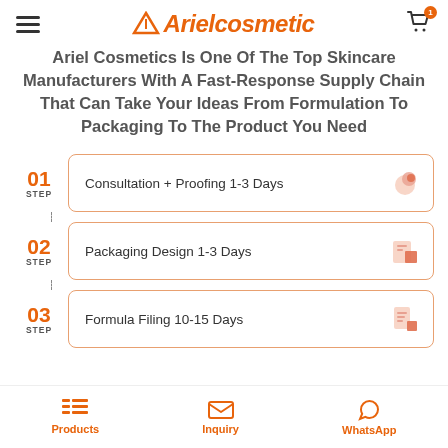Arielcosmetic (logo with hamburger menu and cart)
Ariel Cosmetics Is One Of The Top Skincare Manufacturers With A Fast-Response Supply Chain That Can Take Your Ideas From Formulation To Packaging To The Product You Need
01 STEP — Consultation + Proofing 1-3 Days
02 STEP — Packaging Design 1-3 Days
03 STEP — Formula Filing 10-15 Days
Products | Inquiry | WhatsApp